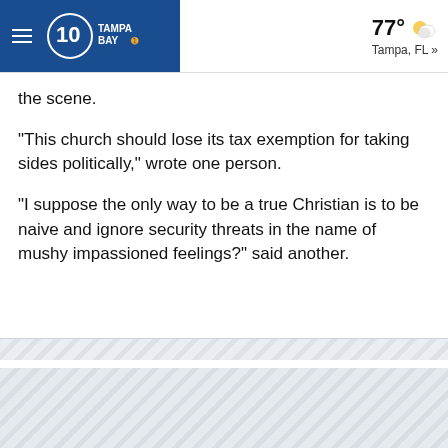10 Tampa Bay — 77° Tampa, FL »
the scene.
"This church should lose its tax exemption for taking sides politically," wrote one person.
"I suppose the only way to be a true Christian is to be naive and ignore security threats in the name of mushy impassioned feelings?" said another.
[Figure (other): Striped placeholder/advertisement area 1]
[Figure (other): Striped placeholder/advertisement area 2]